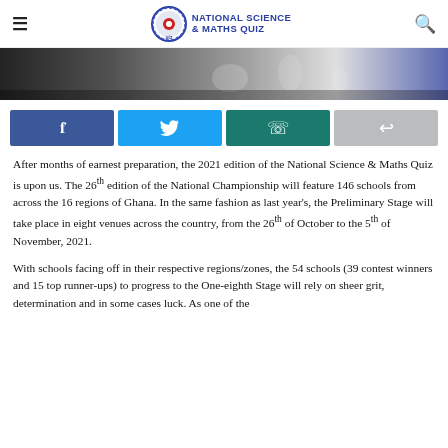NATIONAL SCIENCE & MATHS QUIZ
[Figure (photo): Partial view of a science quiz event with laboratory glassware and participants in the background]
[Figure (infographic): Social share buttons: Facebook, Twitter, WhatsApp, and a generic share button]
After months of earnest preparation, the 2021 edition of the National Science & Maths Quiz is upon us. The 26th edition of the National Championship will feature 146 schools from across the 16 regions of Ghana. In the same fashion as last year's, the Preliminary Stage will take place in eight venues across the country, from the 26th of October to the 5th of November, 2021.
With schools facing off in their respective regions/zones, the 54 schools (39 contest winners and 15 top runner-ups) to progress to the One-eighth Stage will rely on sheer grit, determination and in some cases luck. As one of the